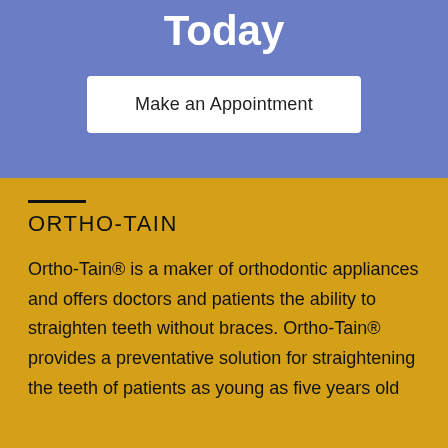Today
Make an Appointment
ORTHO-TAIN
Ortho-Tain® is a maker of orthodontic appliances and offers doctors and patients the ability to straighten teeth without braces. Ortho-Tain® provides a preventative solution for straightening the teeth of patients as young as five years old